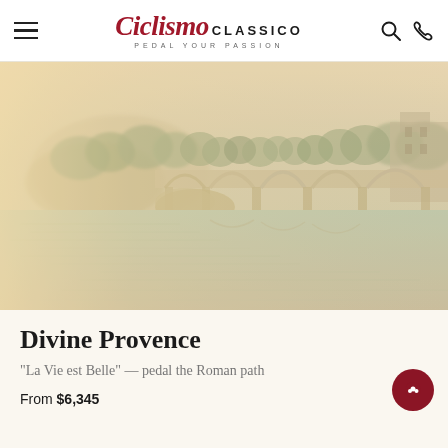Ciclismo Classico — Pedal Your Passion
[Figure (photo): A misty, warm-toned photograph of the Pont Saint-Bénézet (Avignon Bridge) over the Rhône River in Provence, France. The medieval stone bridge with rounded arches is seen from across the water, framed by trees and historic buildings on a hilltop. The water reflects the bridge and surrounding landscape in soft golden-pink light.]
Divine Provence
"La Vie est Belle" — pedal the Roman path
From $6,345